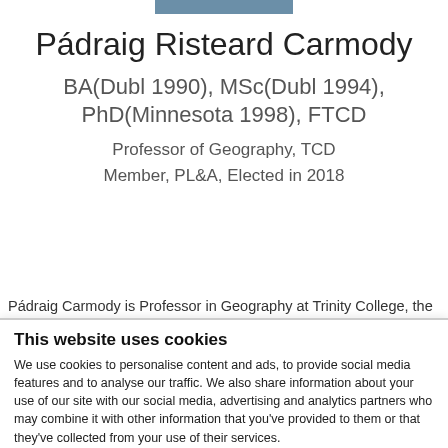Pádraig Risteard Carmody
BA(Dubl 1990), MSc(Dubl 1994), PhD(Minnesota 1998), FTCD
Professor of Geography, TCD
Member, PL&A, Elected in 2018
Pádraig Carmody is Professor in Geography at Trinity College, the
This website uses cookies
We use cookies to personalise content and ads, to provide social media features and to analyse our traffic. We also share information about your use of our site with our social media, advertising and analytics partners who may combine it with other information that you've provided to them or that they've collected from your use of their services.
Deny | Allow selection | Allow all
Necessary | Preferences | Statistics | Marketing | Show details